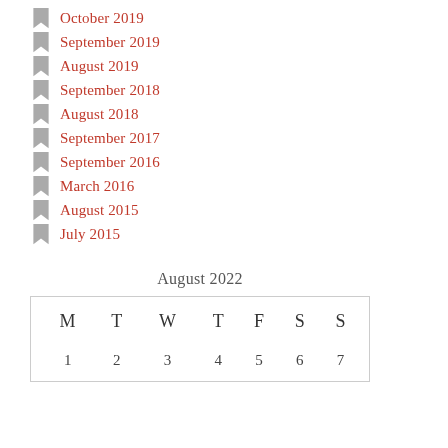October 2019
September 2019
August 2019
September 2018
August 2018
September 2017
September 2016
March 2016
August 2015
July 2015
August 2022
| M | T | W | T | F | S | S |
| --- | --- | --- | --- | --- | --- | --- |
| 1 | 2 | 3 | 4 | 5 | 6 | 7 |